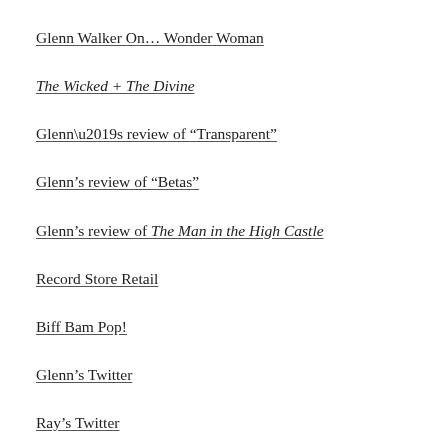Glenn Walker On… Wonder Woman
The Wicked + The Divine
Glenn’s review of “Transparent”
Glenn’s review of “Betas”
Glenn’s review of The Man in the High Castle
Record Store Retail
Biff Bam Pop!
Glenn’s Twitter
Ray’s Twitter